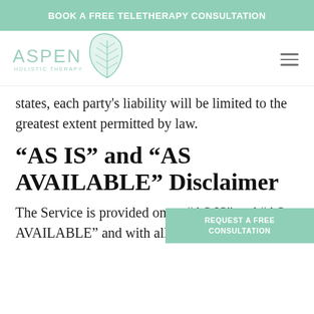BOOK A FREE TELETHERAPY CONSULTATION
[Figure (logo): Aspen Holistic Therapy logo with leaf graphic and text]
states, each party's liability will be limited to the greatest extent permitted by law.
“AS IS” and “AS AVAILABLE” Disclaimer
The Service is provided on an “AS IS” and “AS AVAILABLE” and with all
REQUEST A FREE CONSULTATION